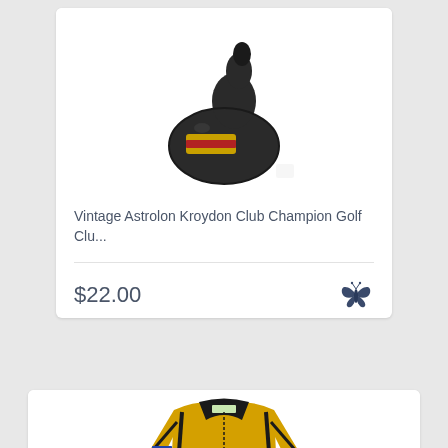[Figure (photo): Black vintage Astrolon Kroydon Club Champion golf club head with gold and red stripe detail, shown on white background]
Vintage Astrolon Kroydon Club Champion Golf Clu...
$22.00
[Figure (photo): Yellow and black long-sleeve sports referee or soccer jacket with black collar, black side stripes, and a patch on the sleeve, shown on white background]